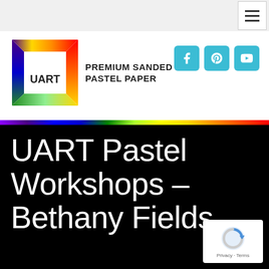Navigation bar with hamburger menu
[Figure (logo): UART Premium Sanded Pastel Paper logo — colorful square frame with UART text and product description]
[Figure (infographic): Social media icons: Facebook, Pinterest, YouTube — teal rounded square buttons]
UART Pastel Workshops – Bethany Fields
[Figure (other): Google reCAPTCHA badge with Privacy and Terms links]